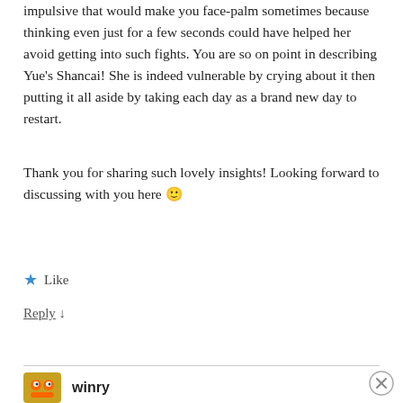impulsive that would make you face-palm sometimes because thinking even just for a few seconds could have helped her avoid getting into such fights. You are so on point in describing Yue's Shancai! She is indeed vulnerable by crying about it then putting it all aside by taking each day as a brand new day to restart.
Thank you for sharing such lovely insights! Looking forward to discussing with you here 🙂
★ Like
Reply ↓
winry